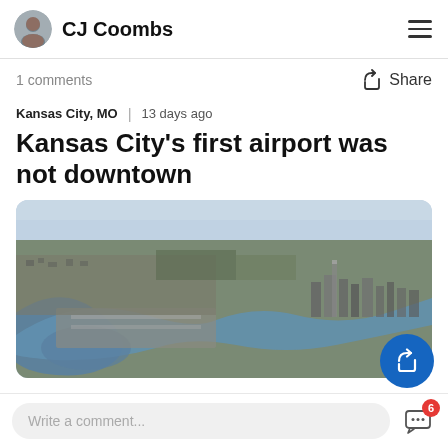CJ Coombs
1 comments
Share
Kansas City, MO | 13 days ago
Kansas City's first airport was not downtown
[Figure (photo): Aerial photograph of Kansas City, MO showing a river bend, airport runways, and downtown skyline in the background]
Write a comment...